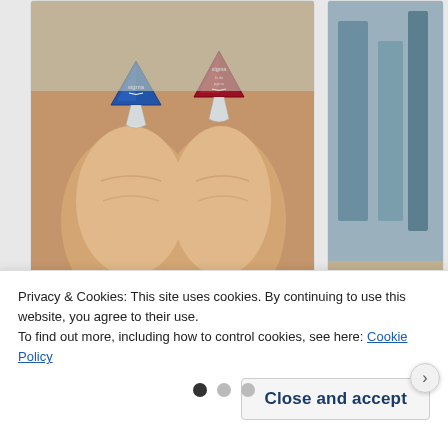[Figure (photo): Two hearing aid devices held between fingers — one blue and one red/maroon, each with a small clear earpiece attachment, on a neutral background.]
Seniors with Hearing Loss in Virginia Regret Not Knowing This Sooner
[Figure (photo): Partially visible second card image, cut off on the right side.]
Powerfu Aids Cru
Privacy & Cookies: This site uses cookies. By continuing to use this website, you agree to their use.
To find out more, including how to control cookies, see here: Cookie Policy
Close and accept